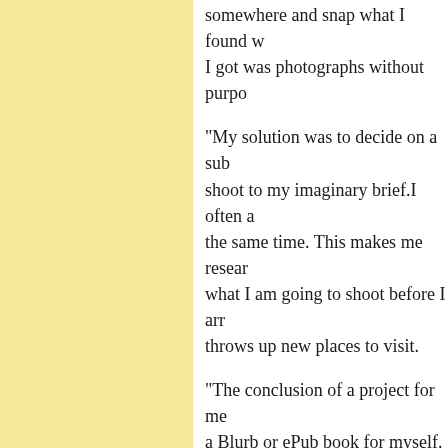somewhere and snap what I found w... I got was photographs without purpo...
"My solution was to decide on a sub... shoot to my imaginary brief.I often a... the same time. This makes me resear... what I am going to shoot before I arr... throws up new places to visit.
"The conclusion of a project for me ... a Blurb or ePub book for myself. Wh... am missing something so out I go to... production of a book in mind, means... need; the establishing shots down to...
"My projects are quite varied, from j... small project documenting the abstr... mud volcanoes we have nearby, two... or my latest one which documents th... against civilians in the Apennine mo...